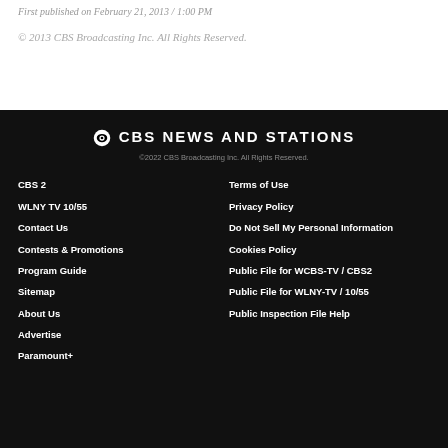First published on February 21, 2013 / 1:00 PM
© 2013 CBS Broadcasting Inc. All Rights Reserved.
[Figure (logo): CBS News and Stations logo with eye icon]
©2022 CBS Broadcasting Inc. All Rights Reserved.
CBS 2
Terms of Use
WLNY TV 10/55
Privacy Policy
Contact Us
Do Not Sell My Personal Information
Contests & Promotions
Cookies Policy
Program Guide
Public File for WCBS-TV / CBS2
Sitemap
Public File for WLNY-TV / 10/55
About Us
Public Inspection File Help
Advertise
Paramount+